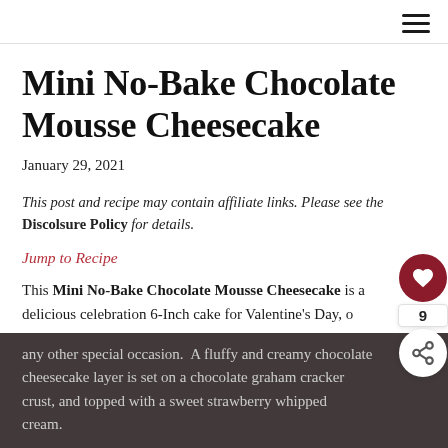≡
Mini No-Bake Chocolate Mousse Cheesecake
January 29, 2021
This post and recipe may contain affiliate links. Please see the Discolsure Policy for details.
Jump to Recipe
This Mini No-Bake Chocolate Mousse Cheesecake is a delicious celebration 6-Inch cake for Valentine's Day, or any other special occasion.  A fluffy and creamy chocolate cheesecake layer is set on a chocolate graham cracker crust, and topped with a sweet strawberry whipped cream.